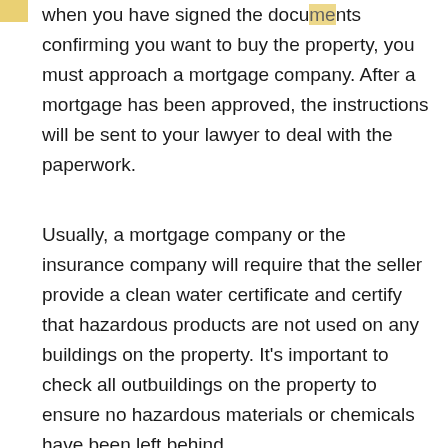when you have signed the documents confirming you want to buy the property, you must approach a mortgage company. After a mortgage has been approved, the instructions will be sent to your lawyer to deal with the paperwork.
Usually, a mortgage company or the insurance company will require that the seller provide a clean water certificate and certify that hazardous products are not used on any buildings on the property. It's important to check all outbuildings on the property to ensure no hazardous materials or chemicals have been left behind.
Mortgage Breakdown...